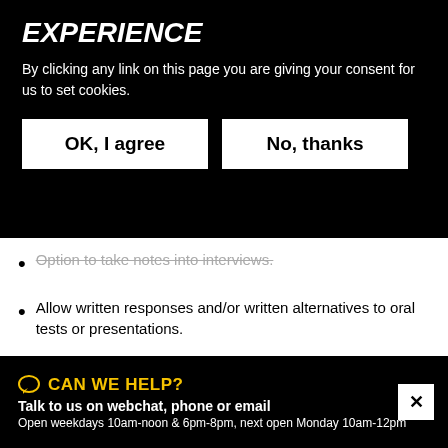EXPERIENCE
By clicking any link on this page you are giving your consent for us to set cookies.
OK, I agree
No, thanks
Option to take notes into interviews.
Allow written responses and/or written alternatives to oral tests or presentations.
Face-to-face interview offered as an option instead of a telephone interview.
ON THE JOB
CAN WE HELP?
Talk to us on webchat, phone or email
Open weekdays 10am-noon & 6pm-8pm, next open Monday 10am-12pm